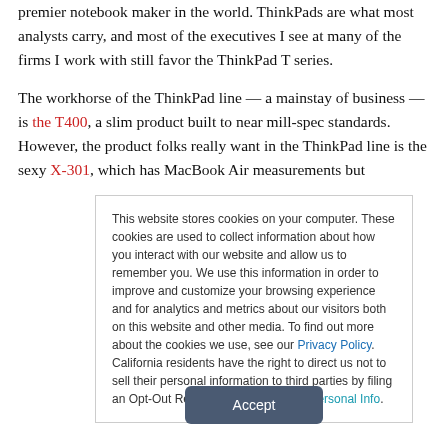premier notebook maker in the world. ThinkPads are what most analysts carry, and most of the executives I see at many of the firms I work with still favor the ThinkPad T series.
The workhorse of the ThinkPad line — a mainstay of business — is the T400, a slim product built to near mill-spec standards. However, the product folks really want in the ThinkPad line is the sexy X-301, which has MacBook Air measurements but
This website stores cookies on your computer. These cookies are used to collect information about how you interact with our website and allow us to remember you. We use this information in order to improve and customize your browsing experience and for analytics and metrics about our visitors both on this website and other media. To find out more about the cookies we use, see our Privacy Policy. California residents have the right to direct us not to sell their personal information to third parties by filing an Opt-Out Request: Do Not Sell My Personal Info.
Accept